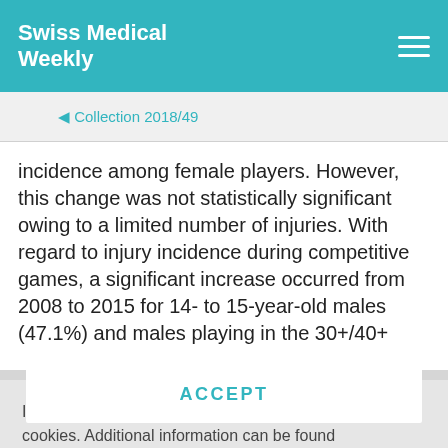Swiss Medical Weekly
◀ Collection 2018/49
incidence among female players. However, this change was not statistically significant owing to a limited number of injuries. With regard to injury incidence during competitive games, a significant increase occurred from 2008 to 2015 for 14- to 15-year-old males (47.1%) and males playing in the 30+/40+
In order to offer you a better user experience, we use cookies. Additional information can be found here..
ACCEPT